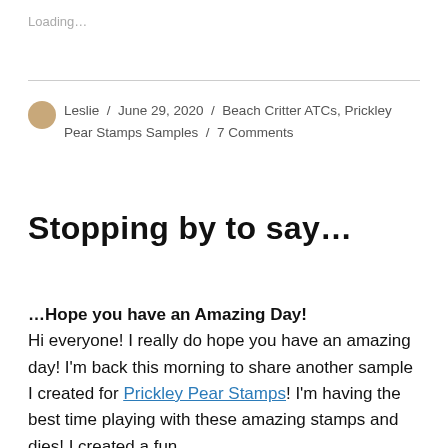Loading...
Leslie / June 29, 2020 / Beach Critter ATCs, Prickley Pear Stamps Samples / 7 Comments
Stopping by to say...
...Hope you have an Amazing Day! Hi everyone! I really do hope you have an amazing day! I'm back this morning to share another sample I created for Prickley Pear Stamps! I'm having the best time playing with these amazing stamps and dies! I created a fun